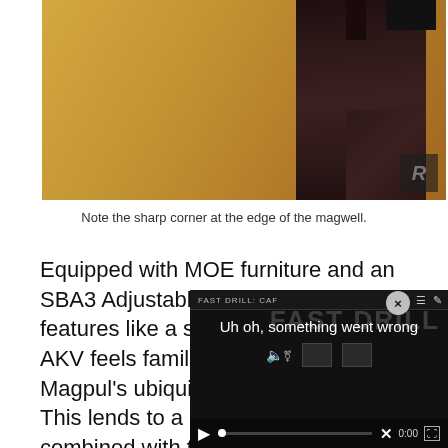[Figure (photo): Close-up photo of a dark brown firearm magwell against a golden/tan background, showing a sharp corner at the edge. A small watermark logo (R) is visible in the bottom right of the image.]
Note the sharp corner at the edge of the magwell.
Equipped with MOE furniture and an SBA3 Adjustable brace (with all of it's features like a sling mount), the PSA AKV feels familiar to an AR considering Magpul's ubiquitous accouterments. This lends to a comfortable combined with the overall firearm as the micro soul d
[Figure (screenshot): Video player overlay showing an error state: header reads 'FAST DRILL: CAF' with menu and edit icons. Error message: 'Uh oh, something went wrong'. Controls bar shows: muted speaker icon, play button, progress bar with dot, X mark, time '0:00', expand icon.]